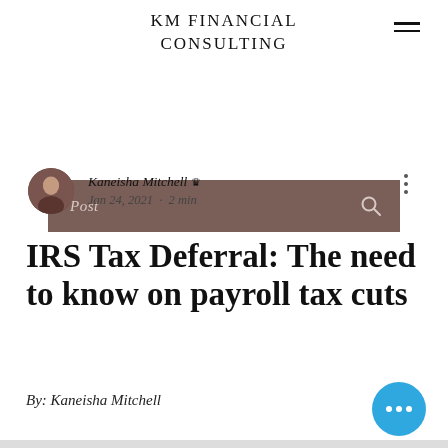KM FINANCIAL CONSULTING
Post
Kaneisha Mitchell 🜲
Jan 24, 2021 · 2 min
IRS Tax Deferral: The need to know on payroll tax cuts
By: Kaneisha Mitchell